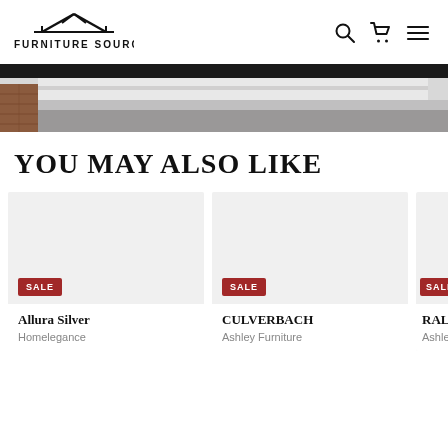[Figure (logo): Furniture Source logo with house/roof icon above the text]
[Figure (photo): Partial view of a building exterior with brick wall and window, used as a hero/banner image]
YOU MAY ALSO LIKE
[Figure (photo): Product card showing Allura Silver by Homelegance with SALE badge]
[Figure (photo): Product card showing CULVERBACH by Ashley Furniture with SALE badge]
[Figure (photo): Partially visible product card with SALE badge, showing RALIN by Ashley]